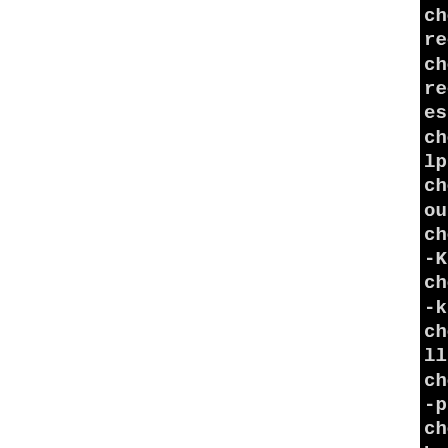checking whether i486-pld- recognizes __func__... yes
checking whether i486-pld- recognizes __PRETTY_FUNCTI es
checking for the pthreads lpthreads... no
checking whether pthreads out any flags... no
checking whether pthreads -Kthread... no
checking whether pthreads -kthread... no
checking for the pthreads llthread... no
checking whether pthreads -pthread... yes
checking for joinable pthr bute... PTHREAD_CREATE_JOI
checking if more special required for pthreads... n
checking whether to check thread/shared inconsistend s